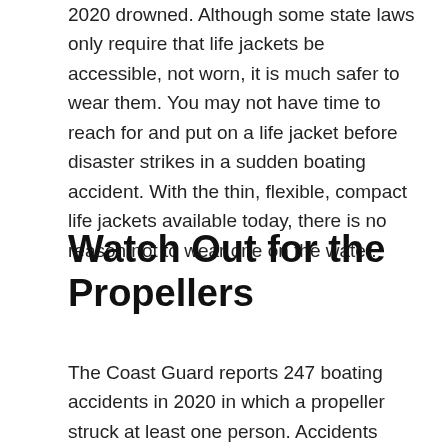2020 drowned. Although some state laws only require that life jackets be accessible, not worn, it is much safer to wear them. You may not have time to reach for and put on a life jacket before disaster strikes in a sudden boating accident. With the thin, flexible, compact life jackets available today, there is no reason not to wear one on the water.
Watch Out for the Propellers
The Coast Guard reports 247 boating accidents in 2020 in which a propeller struck at least one person. Accidents involving propellers caused 39 deaths and